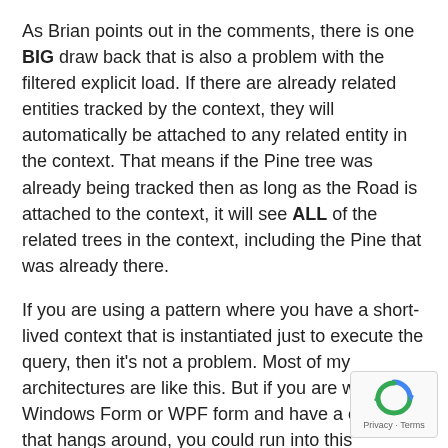As Brian points out in the comments, there is one BIG draw back that is also a problem with the filtered explicit load. If there are already related entities tracked by the context, they will automatically be attached to any related entity in the context. That means if the Pine tree was already being tracked then as long as the Road is attached to the context, it will see ALL of the related trees in the context, including the Pine that was already there.
If you are using a pattern where you have a short-lived context that is instantiated just to execute the query, then it's not a problem. Most of my architectures are like this. But if you are writing a Windows Form or WPF form and have a context that hangs around, you could run into this problem.
You'll never avoid the problem when the entities are attached to the context.